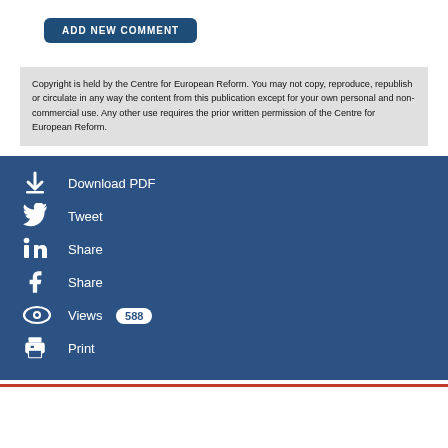[Figure (other): ADD NEW COMMENT button in dark blue rounded rectangle]
Copyright is held by the Centre for European Reform. You may not copy, reproduce, republish or circulate in any way the content from this publication except for your own personal and non-commercial use. Any other use requires the prior written permission of the Centre for European Reform.
Download PDF
Tweet
Share (LinkedIn)
Share (Facebook)
Views 588
Print